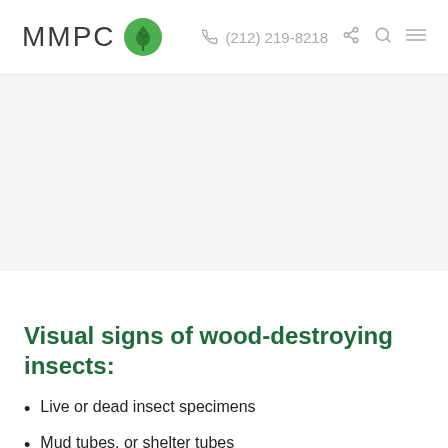MMPC (212) 219-8218
[Figure (photo): Large image placeholder area (content not visible in this crop)]
Visual signs of wood-destroying insects:
Live or dead insect specimens
Mud tubes, or shelter tubes